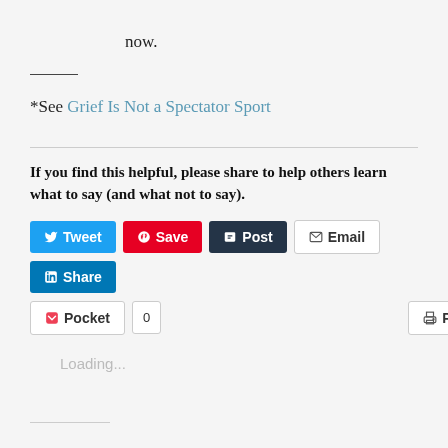now.
*See Grief Is Not a Spectator Sport
If you find this helpful, please share to help others learn what to say (and what not to say).
Tweet | Save | Post | Email | Share | Pocket | 0 | Print
Loading...